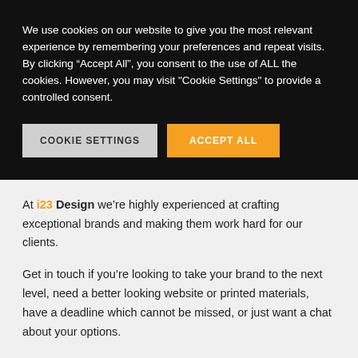We use cookies on our website to give you the most relevant experience by remembering your preferences and repeat visits. By clicking “Accept All”, you consent to the use of ALL the cookies. However, you may visit "Cookie Settings" to provide a controlled consent.
COOKIE SETTINGS | ACCEPT ALL
At i23 Design we’re highly experienced at crafting exceptional brands and making them work hard for our clients.
Get in touch if you’re looking to take your brand to the next level, need a better looking website or printed materials, have a deadline which cannot be missed, or just want a chat about your options.
CONTACT US